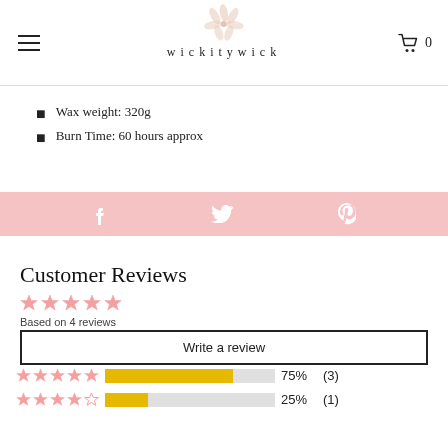wickitywick
Wax weight: 320g
Burn Time: 60 hours approx
[Figure (infographic): Pink social sharing bar with Facebook, Twitter, and Pinterest icons]
Customer Reviews
Based on 4 reviews
Write a review
[Figure (bar-chart): Star rating distribution]